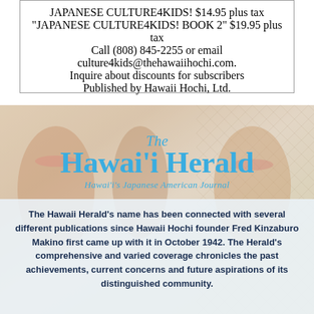JAPANESE CULTURE4KIDS! $14.95 plus tax
"JAPANESE CULTURE4KIDS! BOOK 2" $19.95 plus tax
Call (808) 845-2255 or email culture4kids@thehawaiihochi.com.
Inquire about discounts for subscribers

Published by Hawaii Hochi, Ltd.
[Figure (photo): Background photo of people wearing leis and traditional Hawaiian/Japanese attire with a lattice backdrop, overlaid with The Hawaii Herald logo and subtitle text]
The Hawaii Herald's name has been connected with several different publications since Hawaii Hochi founder Fred Kinzaburo Makino first came up with it in October 1942. The Herald's comprehensive and varied coverage chronicles the past achievements, current concerns and future aspirations of its distinguished community.